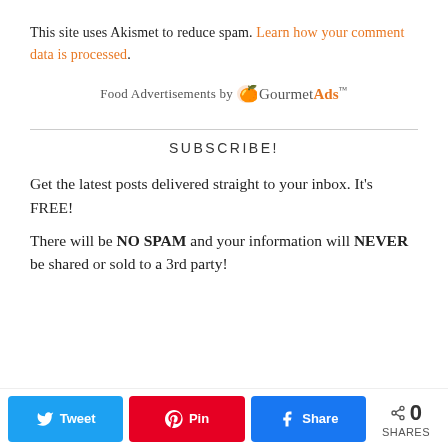This site uses Akismet to reduce spam. Learn how your comment data is processed.
Food Advertisements by GourmetAds™
SUBSCRIBE!
Get the latest posts delivered straight to your inbox. It's FREE!
There will be NO SPAM and your information will NEVER be shared or sold to a 3rd party!
Tweet  Pin  Share  0 SHARES